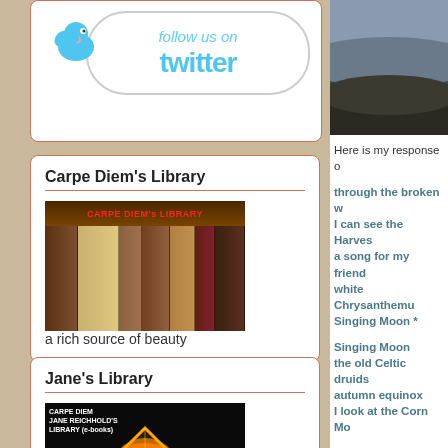[Figure (screenshot): Twitter follow us button with bird logo]
Carpe Diem's Library
[Figure (photo): Old books on a shelf with text CARPE DIEM's LIBRARY in red]
a rich source of beauty
Jane's Library
[Figure (photo): Carpe Diem Jane Reichhold's Library e-books with fire diamond]
the e-books by Jane Reichhold
[Figure (photo): Landscape photo partially visible on right side]
Here is my response o
through the broken w
I can see the Harves
a song for my friend
white Chrysanthemu
Singing Moon *
Singing Moon
the old Celtic druids
autumn equinox
I look at the Corn Mo